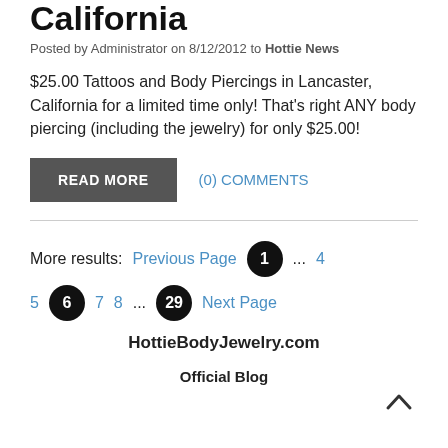…Piercings in Lancaster, California
Posted by Administrator on 8/12/2012 to Hottie News
$25.00 Tattoos and Body Piercings in Lancaster, California for a limited time only! That's right ANY body piercing (including the jewelry) for only $25.00!
READ MORE   (0) COMMENTS
More results: Previous Page  1  ...  4  5  6  7  8  ...  29  Next Page
HottieBodyJewelry.com
Official Blog